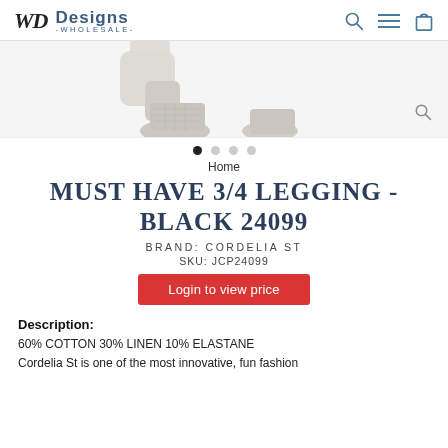WD Designs -WHOLESALE-
[Figure (photo): Product photo of black leggings, partially visible, white background with magnify icon]
Home
MUST HAVE 3/4 LEGGING - BLACK 24099
BRAND: CORDELIA ST
SKU: JCP24099
Login to view price
Description:
60% COTTON 30% LINEN 10% ELASTANE
Cordelia St is one of the most innovative, fun fashion